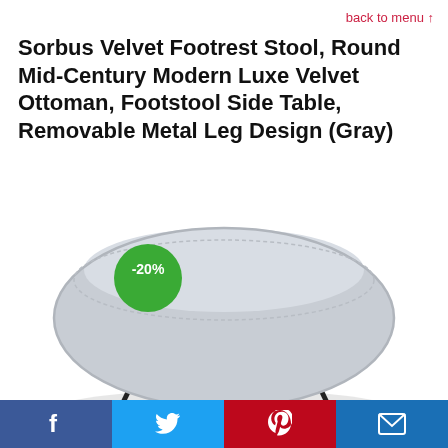back to menu ↑
Sorbus Velvet Footrest Stool, Round Mid-Century Modern Luxe Velvet Ottoman, Footstool Side Table, Removable Metal Leg Design (Gray)
[Figure (photo): A round gray velvet ottoman/footstool with black metal legs and a green -20% discount badge on the upper left.]
Facebook | Twitter | Pinterest | Email